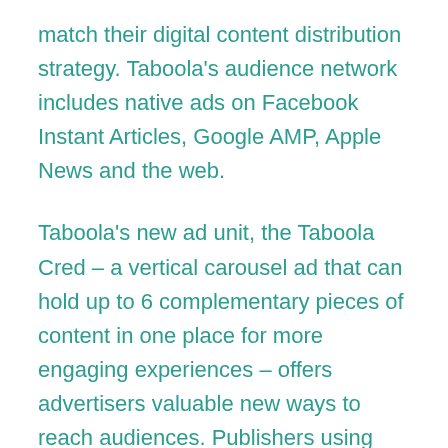match their digital content distribution strategy. Taboola's audience network includes native ads on Facebook Instant Articles, Google AMP, Apple News and the web.
Taboola's new ad unit, the Taboola Cred – a vertical carousel ad that can hold up to 6 complementary pieces of content in one place for more engaging experiences – offers advertisers valuable new ways to reach audiences. Publishers using this new ad format will be able to provide their users with an enhanced experience while driving incremental revenue.
Taboola has exclusive agreements with some of the